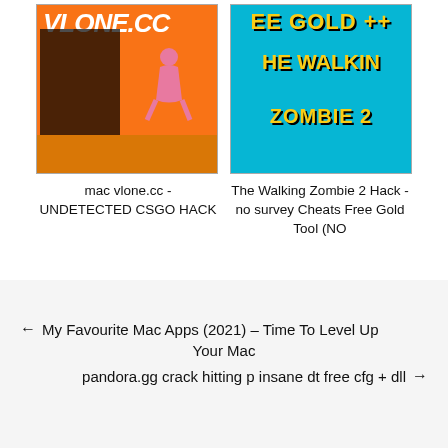[Figure (screenshot): Screenshot of a game hack tool for CSGO on an orange basketball court background with dark menu panel and pink character figure. Shows 'VLONE.CC' text at top.]
mac vlone.cc - UNDETECTED CSGO HACK
[Figure (screenshot): Screenshot of The Walking Zombie 2 game hack tool with cyan/blue background and yellow bold text reading 'E GOLD ++', 'E WALKIN', 'ZOMBIE 2']
The Walking Zombie 2 Hack - no survey Cheats Free Gold Tool (NO
← My Favourite Mac Apps (2021) – Time To Level Up Your Mac
pandora.gg crack hitting p insane dt free cfg + dll →